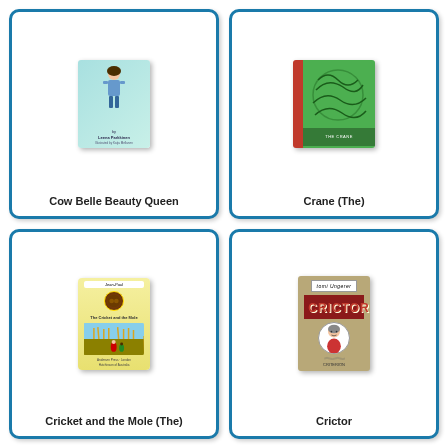[Figure (illustration): Book cover for 'Cow Belle Beauty Queen' by Leena Parkkinen, illustrated by Katja Mellanen. Teal/mint green background with a girl figure.]
Cow Belle Beauty Queen
[Figure (illustration): Book cover for 'Crane (The)'. Bright green cover with red spine and decorative squiggly illustrations.]
Crane (The)
[Figure (illustration): Book cover for 'Cricket and the Mole (The)'. Yellow background with banner at top reading 'Jean-Paul', circular medallion with two characters, rural field scene with figures, published by Andersen Press London / Hutchinson of Australia.]
Cricket and the Mole (The)
[Figure (illustration): Book cover for 'Crictor' by Tomi Ungerer. Olive/tan cover with author name tag at top, large red 'CRICTOR' lettering, and oval portrait illustration of a woman.]
Crictor